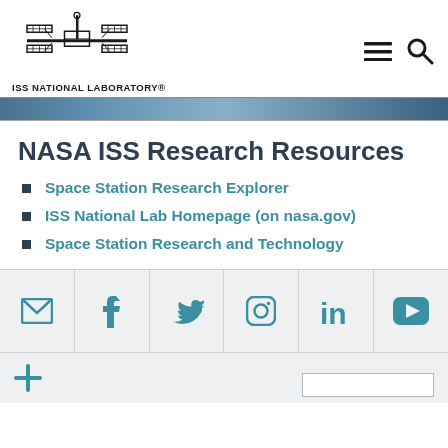ISS NATIONAL LABORATORY
[Figure (illustration): ISS National Laboratory logo — stylized space station silhouette above 'ISS NATIONAL LABORATORY' text]
NASA ISS Research Resources
Space Station Research Explorer
ISS National Lab Homepage (on nasa.gov)
Space Station Research and Technology
[Figure (infographic): Social media icons row: email, Facebook, Twitter, Instagram, LinkedIn, YouTube — teal colored on light gray background]
[Figure (infographic): Footer bottom area with plus icon and search box]